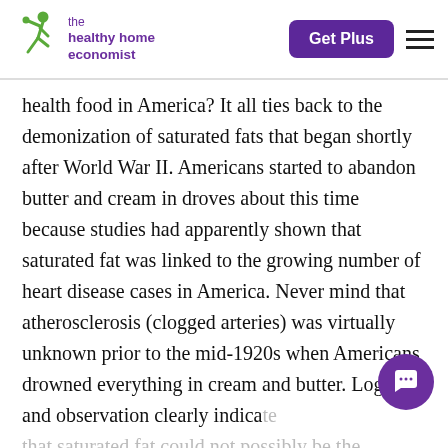the healthy home economist | Get Plus
health food in America? It all ties back to the demonization of saturated fats that began shortly after World War II. Americans started to abandon butter and cream in droves about this time because studies had apparently shown that saturated fat was linked to the growing number of heart disease cases in America. Never mind that atherosclerosis (clogged arteries) was virtually unknown prior to the mid-1920s when Americans drowned everything in cream and butter. Logic and observation clearly indica[te] that saturated fat could not possibly be the [cause] of heart disease, it [was observed]...